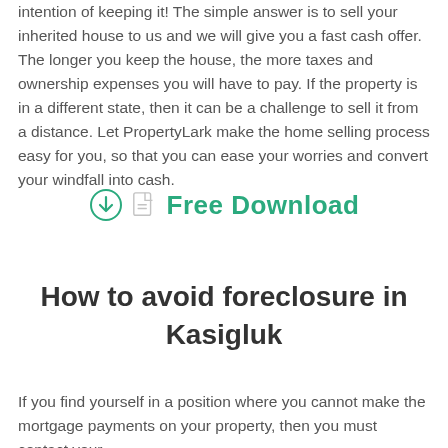intention of keeping it! The simple answer is to sell your inherited house to us and we will give you a fast cash offer. The longer you keep the house, the more taxes and ownership expenses you will have to pay. If the property is in a different state, then it can be a challenge to sell it from a distance. Let PropertyLark make the home selling process easy for you, so that you can ease your worries and convert your windfall into cash.
[Figure (other): Free Download button with download icon circle and document icon]
How to avoid foreclosure in Kasigluk
If you find yourself in a position where you cannot make the mortgage payments on your property, then you must contact your